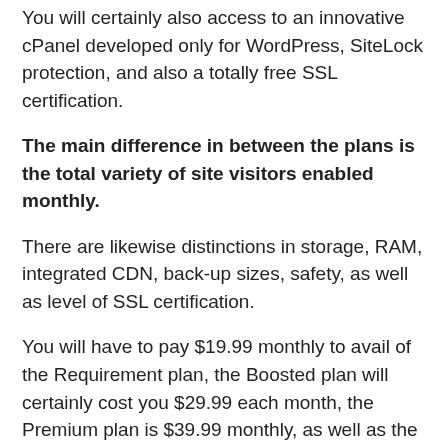You will certainly also access to an innovative cPanel developed only for WordPress, SiteLock protection, and also a totally free SSL certification.
The main difference in between the plans is the total variety of site visitors enabled monthly.
There are likewise distinctions in storage, RAM, integrated CDN, back-up sizes, safety, as well as level of SSL certification.
You will have to pay $19.99 monthly to avail of the Requirement plan, the Boosted plan will certainly cost you $29.99 each month, the Premium plan is $39.99 monthly, as well as the Ultimate strategy costs $49.99 per month.
That should make use of Managed WordPress Hosting?
Normally, Handled WordPress organizing is optimal for holding a